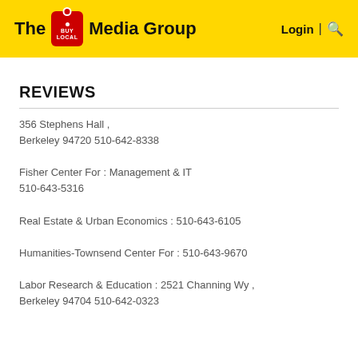The BUY LOCAL Media Group   Login | 🔍
REVIEWS
356 Stephens Hall ,
Berkeley 94720 510-642-8338
Fisher Center For : Management & IT
510-643-5316
Real Estate & Urban Economics : 510-643-6105
Humanities-Townsend Center For : 510-643-9670
Labor Research & Education : 2521 Channing Wy ,
Berkeley 94704 510-642-0323